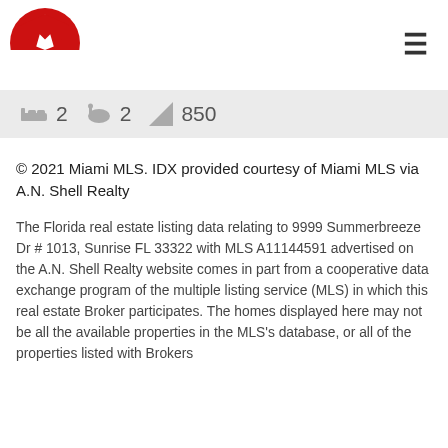[Figure (logo): A.N. Shell Realty logo — red semicircle with white Maltese cross star shape]
☰
🛏 2  🛁 2  📐 850
© 2021 Miami MLS. IDX provided courtesy of Miami MLS via A.N. Shell Realty
The Florida real estate listing data relating to 9999 Summerbreeze Dr # 1013, Sunrise FL 33322 with MLS A11144591 advertised on the A.N. Shell Realty website comes in part from a cooperative data exchange program of the multiple listing service (MLS) in which this real estate Broker participates. The homes displayed here may not be all the available properties in the MLS's database, or all of the properties listed with Brokers